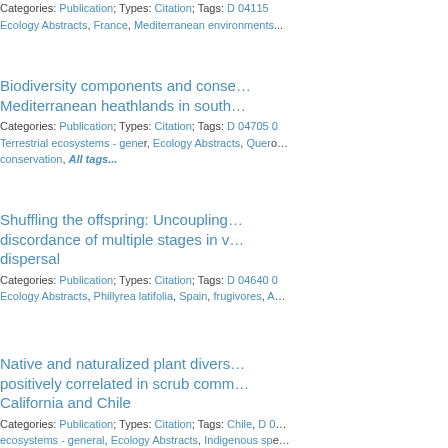Categories: Publication; Types: Citation; Tags: D 04115, Ecology Abstracts, France, Mediterranean environments
Biodiversity components and conservation of Mediterranean heathlands in south...
Categories: Publication; Types: Citation; Tags: D 04705 0, Terrestrial ecosystems - general, Ecology Abstracts, Querco..., conservation, All tags...
Shuffling the offspring: Uncoupling discordance of multiple stages in vertebrate dispersal
Categories: Publication; Types: Citation; Tags: D 04640 0, Ecology Abstracts, Phillyrea latifolia, Spain, frugivores, A...
Native and naturalized plant diversity are positively correlated in scrub communities of California and Chile
Categories: Publication; Types: Citation; Tags: Chile, D 0..., ecosystems - general, Ecology Abstracts, Indigenous species..., All tags...